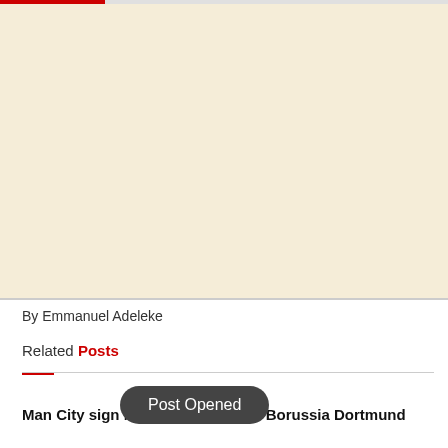[Figure (other): Advertisement placeholder area with cream/beige background]
By Emmanuel Adeleke
Related Posts
Post Opened
Man City sign Manuel Akanji from Borussia Dortmund